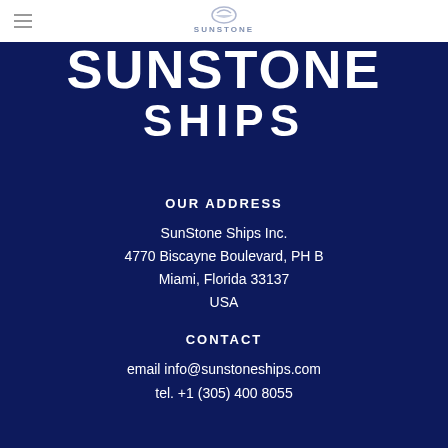SunStone (logo)
SUNSTONE Ships
OUR ADDRESS
SunStone Ships Inc.
4770 Biscayne Boulevard, PH B
Miami, Florida 33137
USA
CONTACT
email info@sunstoneships.com
tel. +1 (305) 400 8055